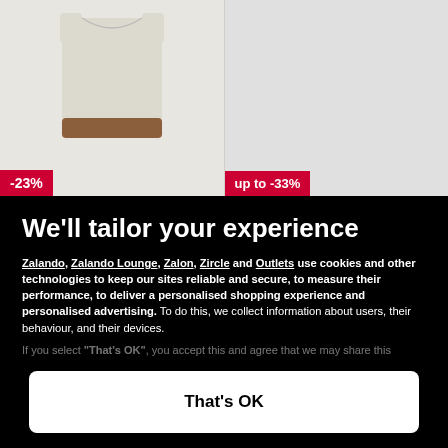[Figure (photo): Product image of a light beige/cream colored garment with brown hem on left panel, and a grey/white garment on right panel. Left panel shows -23% discount badge in red. Right panel shows 'up to -33%' discount badge in red.]
We'll tailor your experience
Zalando, Zalando Lounge, Zalon, Zircle and Outlets use cookies and other technologies to keep our sites reliable and secure, to measure their performance, to deliver a personalised shopping experience and personalised advertising. To do this, we collect information about users, their behaviour, and their devices.
If you select “That’s OK”, you accept this and agree that we may share this information with third parties, such as our marketing partners.
Only essential
Set preferences
That's OK